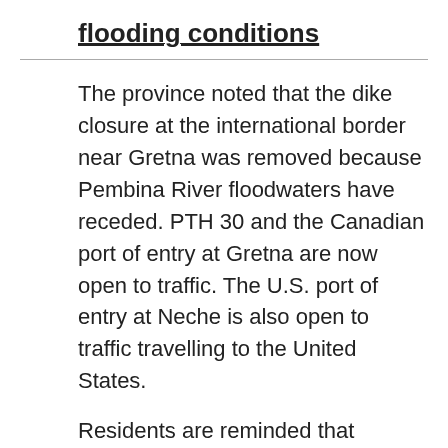flooding conditions
The province noted that the dike closure at the international border near Gretna was removed because Pembina River floodwaters have receded. PTH 30 and the Canadian port of entry at Gretna are now open to traffic. The U.S. port of entry at Neche is also open to traffic travelling to the United States.
Residents are reminded that though these routes have reopened to traffic, repairs are still ongoing in these areas and a number of roads remain closed due to flooding.
Several Manitoba communities continue to be affected by high water levels, with 41 states of